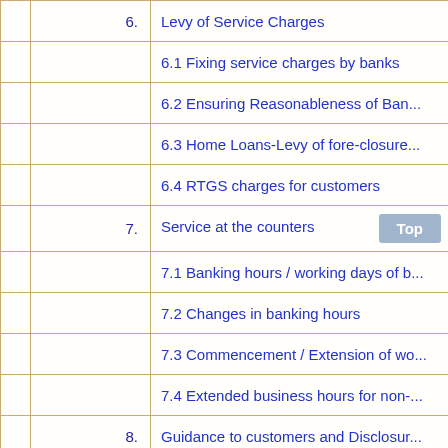| 6. | Levy of Service Charges |
|  | 6.1 Fixing service charges by banks |
|  | 6.2 Ensuring Reasonableness of Ban... |
|  | 6.3 Home Loans-Levy of fore-closure... |
|  | 6.4 RTGS charges for customers |
| 7. | Service at the counters |
|  | 7.1 Banking hours / working days of b... |
|  | 7.2 Changes in banking hours |
|  | 7.3 Commencement / Extension of wo... |
|  | 7.4 Extended business hours for non-... |
| 8. | Guidance to customers and Disclosur... |
|  | 8.1 Assistance/guidance to customers... |